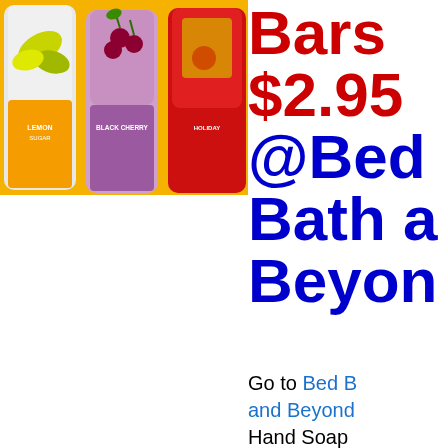[Figure (photo): Three bottles of Bath and Body Works hand soap/body wash products: lemon sugar scent (yellow), black cherry scent (purple), and a red holiday scent, displayed on a yellow/white background.]
Bars $2.95 @Bed Bath and Beyond
Go to Bed Bath and Beyond Hand Soap Cleansing b...